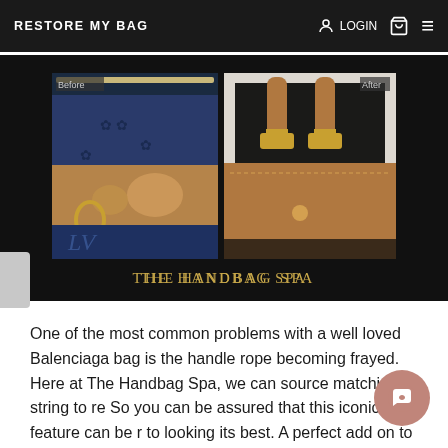RESTORE MY BAG  LOGIN
[Figure (photo): Before and after comparison photo of a Louis Vuitton handbag restoration. Left panel shows 'Before' with worn/frayed vachetta leather trim and hardware. Right panel shows 'After' with restored brown leather handles and gold hardware. Text at bottom reads 'THE HANDBAG SPA'.]
One of the most common problems with a well loved Balenciaga bag is the handle rope becoming frayed. Here at The Handbag Spa, we can source matching string to re... So you can be assured that this iconic feature can be r... to looking its best. A perfect add on to any package for your